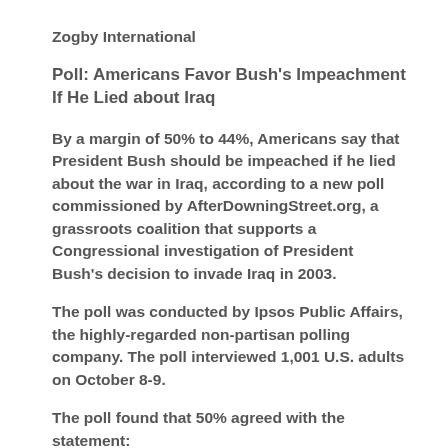Zogby International
Poll: Americans Favor Bush's Impeachment If He Lied about Iraq
By a margin of 50% to 44%, Americans say that President Bush should be impeached if he lied about the war in Iraq, according to a new poll commissioned by AfterDowningStreet.org, a grassroots coalition that supports a Congressional investigation of President Bush's decision to invade Iraq in 2003.
The poll was conducted by Ipsos Public Affairs, the highly-regarded non-partisan polling company. The poll interviewed 1,001 U.S. adults on October 8-9.
The poll found that 50% agreed with the statement: